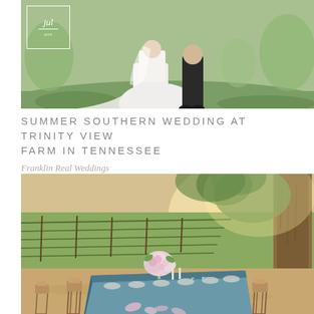[Figure (photo): Outdoor wedding photo of bride in white gown and groom in black suit standing on green grass, with a logo box overlay in the top left corner]
SUMMER SOUTHERN WEDDING AT TRINITY VIEW FARM IN TENNESSEE
Franklin Real Weddings
[Figure (photo): Outdoor wedding reception table set with blue linen tablecloth, pink floral centerpieces, wooden chairs, set in front of vineyard rows under large tree, warm sunlight]